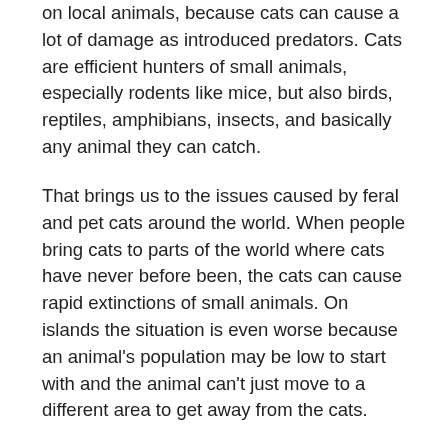on local animals, because cats can cause a lot of damage as introduced predators. Cats are efficient hunters of small animals, especially rodents like mice, but also birds, reptiles, amphibians, insects, and basically any animal they can catch.
That brings us to the issues caused by feral and pet cats around the world. When people bring cats to parts of the world where cats have never before been, the cats can cause rapid extinctions of small animals. On islands the situation is even worse because an animal's population may be low to start with and the animal can't just move to a different area to get away from the cats.
The problem is that people often don't take care of their cats the way they should. Many people don't get their cats neutered, which means they have kittens that the owner doesn't want. Instead of finding good homes for the kittens, the owner will